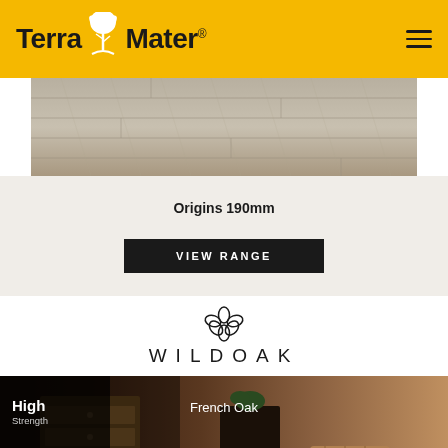Terra Mater
[Figure (photo): Close-up photo of light grey/brown wood floor planks showing wood grain texture]
Origins 190mm
VIEW RANGE
[Figure (logo): Wildoak brand logo with geometric flower/seed icon above the text WILDOAK in wide-spaced capital letters]
[Figure (photo): Dark interior room photo showing wooden furniture including a chest of drawers and wicker basket, with 'High Strength' badge overlay and 'French Oak' label]
High Strength
French Oak